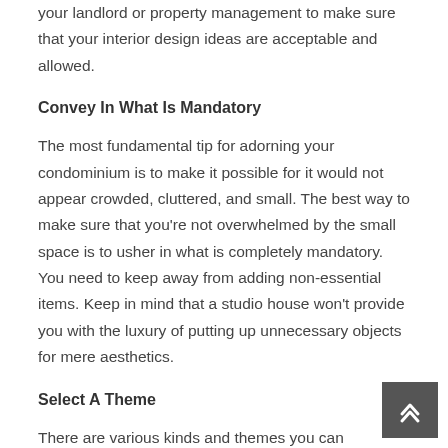your landlord or property management to make sure that your interior design ideas are acceptable and allowed.
Convey In What Is Mandatory
The most fundamental tip for adorning your condominium is to make it possible for it would not appear crowded, cluttered, and small. The best way to make sure that you're not overwhelmed by the small space is to usher in what is completely mandatory. You need to keep away from adding non-essential items. Keep in mind that a studio house won't provide you with the luxury of putting up unnecessary objects for mere aesthetics.
Select A Theme
There are various kinds and themes you can